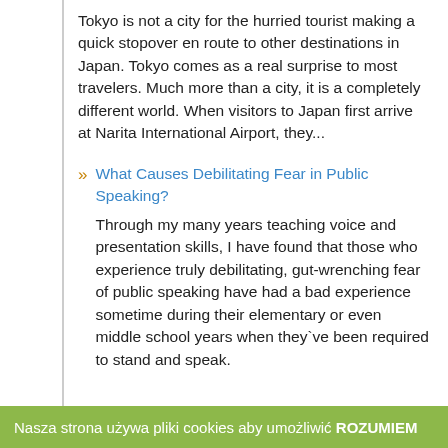Tokyo is not a city for the hurried tourist making a quick stopover en route to other destinations in Japan. Tokyo comes as a real surprise to most travelers. Much more than a city, it is a completely different world. When visitors to Japan first arrive at Narita International Airport, they...
What Causes Debilitating Fear in Public Speaking? Through my many years teaching voice and presentation skills, I have found that those who experience truly debilitating, gut-wrenching fear of public speaking have had a bad experience sometime during their elementary or even middle school years when they`ve been required to stand and speak.
Nasza strona używa pliki cookies aby umożliwić ROZUMIEM